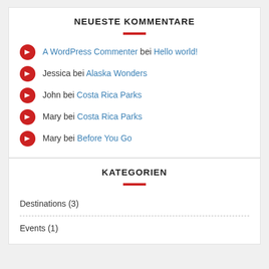NEUESTE KOMMENTARE
A WordPress Commenter bei Hello world!
Jessica bei Alaska Wonders
John bei Costa Rica Parks
Mary bei Costa Rica Parks
Mary bei Before You Go
KATEGORIEN
Destinations (3)
Events (1)